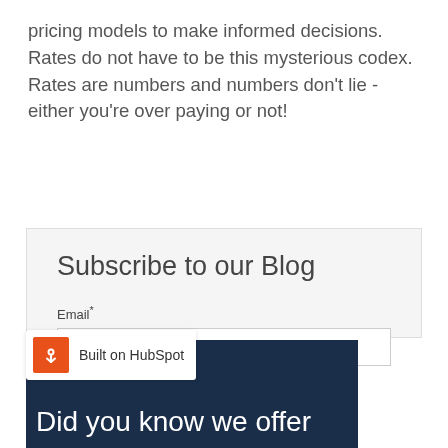pricing models to make informed decisions. Rates do not have to be this mysterious codex. Rates are numbers and numbers don't lie - either you're over paying or not!
Subscribe to our Blog
Email*
[Figure (screenshot): Subscribe to our Blog form with Email field and SUBSCRIBE button on light gray background]
[Figure (screenshot): Dark navy banner with white text 'Did you know we offer' and HubSpot badge overlay]